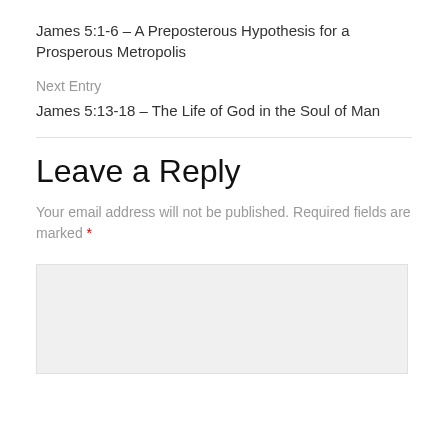James 5:1-6 – A Preposterous Hypothesis for a Prosperous Metropolis
Next Entry
James 5:13-18 – The Life of God in the Soul of Man
Leave a Reply
Your email address will not be published. Required fields are marked *
[Figure (other): Comment text area input box with light gray background]